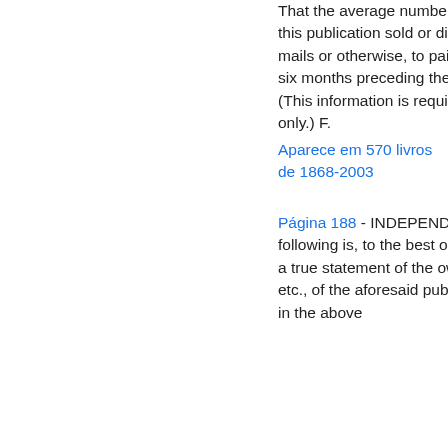That the average number of copies of each issue of this publication sold or distributed, through the mails or otherwise, to paid subscribers during the six months preceding the date shown above is (This information is required from daily publications only.) F.
Aparece em 570 livros de 1868-2003
Página 188 - INDEPENDENT, and that the following is, to the best of his knowledge and belief, a true statement of the ownership, management, etc., of the aforesaid publication for the date shown in the above